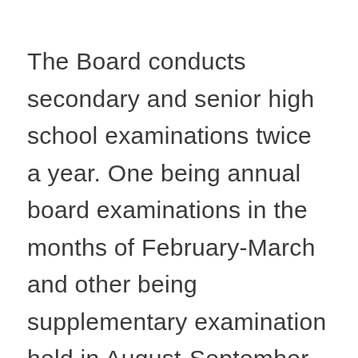The Board conducts secondary and senior high school examinations twice a year. One being annual board examinations in the months of February-March and other being supplementary examination held in August-September of every year.